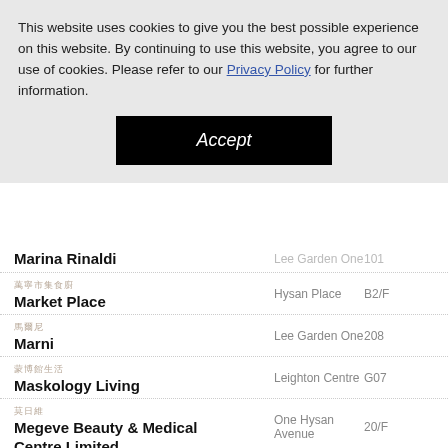This website uses cookies to give you the best possible experience on this website. By continuing to use this website, you agree to our use of cookies. Please refer to our Privacy Policy for further information.
[Figure (other): Black Accept button centered on cookie banner]
| Name | Location | Unit |
| --- | --- | --- |
| Marina Rinaldi (partially visible) | Lee Garden One (partially) | 101 (partially) |
| Market Place | Hysan Place | B2/F |
| Marni | Lee Garden One | 208 |
| Maskology Living | Leighton Centre | G07 |
| Megeve Beauty & Medical Centre Limited | One Hysan Avenue | 20/F |
| Miele | Lee Garden Six | G02-G04, 1/F |